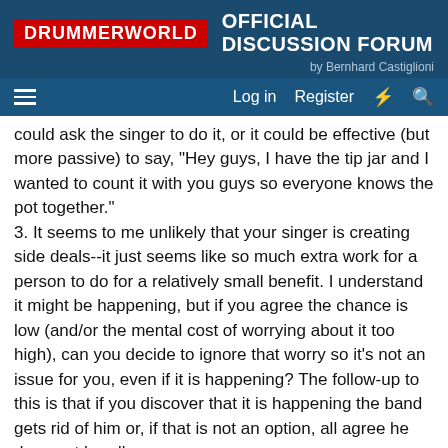DRUMMERWORLD OFFICIAL DISCUSSION FORUM by Bernhard Castiglioni
could ask the singer to do it, or it could be effective (but more passive) to say, "Hey guys, I have the tip jar and I wanted to count it with you guys so everyone knows the pot together."
3. It seems to me unlikely that your singer is creating side deals--it just seems like so much extra work for a person to do for a relatively small benefit. I understand it might be happening, but if you agree the chance is low (and/or the mental cost of worrying about it too high), can you decide to ignore that worry so it's not an issue for you, even if it is happening? The follow-up to this is that if you discover that it is happening the band gets rid of him or, if that is not an option, all agree he does not handle money anymore.
4. I wonder how cash apps will affect how bands are paid and how that money is divided. What if the bar/person wants to pay the band through a cash app? Can this help your concerns? Make them worse? I don't know.
5. I never considered tipping other staff. I figure we are all